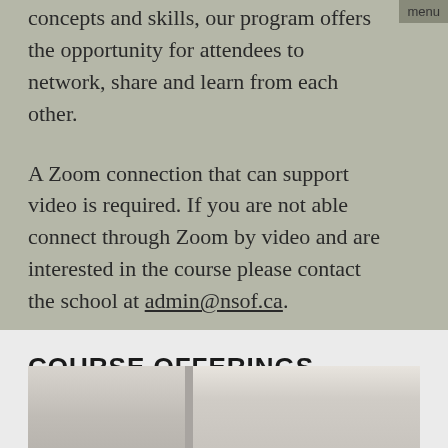concepts and skills, our program offers the opportunity for attendees to network, share and learn from each other.
A Zoom connection that can support video is required. If you are not able connect through Zoom by video and are interested in the course please contact the school at admin@nsof.ca.
COURSE OFFERINGS
[Figure (photo): Partial view of a photo showing people, cropped at the bottom of the page]